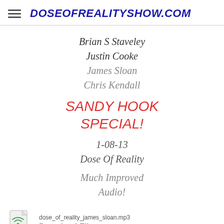DOSEOFREALITYSHOW.COM
Brian S Staveley
Justin Cooke
James Sloan
Chris Kendall
SANDY HOOK SPECIAL!
1-08-13
Dose Of Reality
Much Improved Audio!
dose_of_reality_james_sloan.mp3
Download File